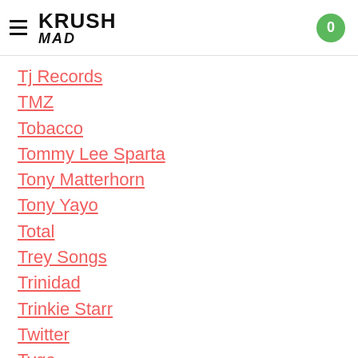KRUSH MAD — navigation header with cart badge showing 0
Tj Records
TMZ
Tobacco
Tommy Lee Sparta
Tony Matterhorn
Tony Yayo
Total
Trey Songs
Trinidad
Trinkie Starr
Twitter
Tyga
Unicorn
United Kingdom